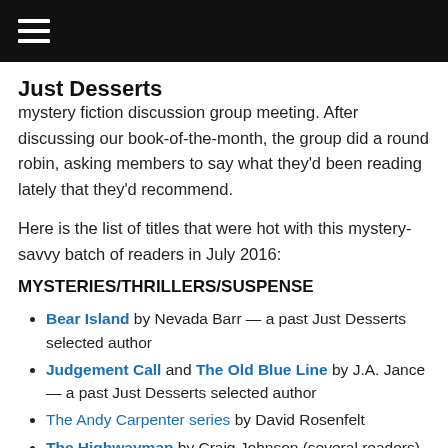[hamburger menu icon]
[partial header text — cut off at top]
mystery fiction discussion group meeting. After discussing our book-of-the-month, the group did a round robin, asking members to say what they'd been reading lately that they'd recommend.
Here is the list of titles that were hot with this mystery-savvy batch of readers in July 2016:
MYSTERIES/THRILLERS/SUSPENSE
Bear Island by Nevada Barr — a past Just Desserts selected author
Judgement Call and The Old Blue Line by J.A. Jance — a past Just Desserts selected author
The Andy Carpenter series by David Rosenfelt
The Highwayman by Craig Johnson (several readers) — a past Just Desserts selected author
The Fifteenth Affair by James Patterson — a past Just Desserts selected author